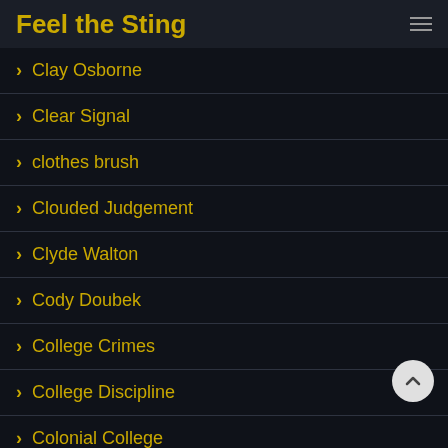Feel the Sting
Clay Osborne
Clear Signal
clothes brush
Clouded Judgement
Clyde Walton
Cody Doubek
College Crimes
College Discipline
Colonial College
Comeuppance
Comics By Jeff
Coming Soon